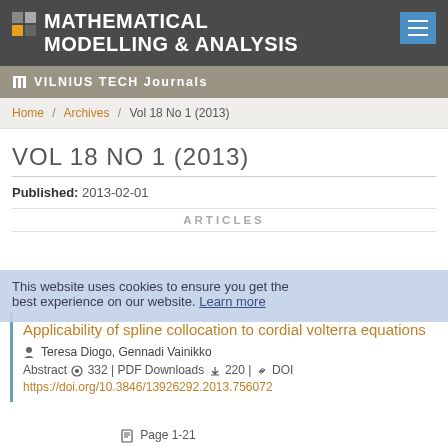MATHEMATICAL MODELLING & ANALYSIS
VILNIUS TECH Journals
Home / Archives / Vol 18 No 1 (2013)
VOL 18 NO 1 (2013)
Published: 2013-02-01
ARTICLES
This website uses cookies to ensure you get the best experience on our website. Learn more
Applicability of spline collocation to cordial volterra equations
Teresa Diogo, Gennadi Vainikko
Abstract 332 | PDF Downloads 220 | DOI https://doi.org/10.3846/13926292.2013.756072
Page 1-21